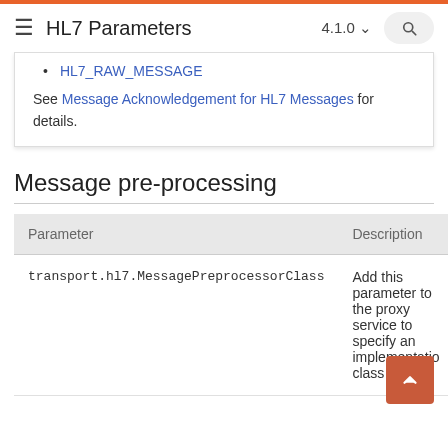HL7 Parameters  4.1.0
HL7_RAW_MESSAGE
See Message Acknowledgement for HL7 Messages for details.
Message pre-processing
| Parameter | Description |
| --- | --- |
| transport.hl7.MessagePreprocessorClass | Add this parameter to the proxy service to specify an implementation class of the |